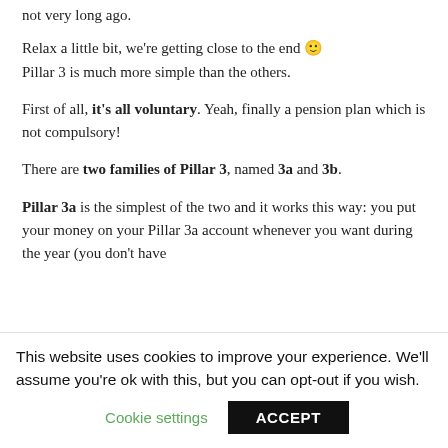not very long ago.
Relax a little bit, we're getting close to the end 🙂 Pillar 3 is much more simple than the others.
First of all, it's all voluntary. Yeah, finally a pension plan which is not compulsory!
There are two families of Pillar 3, named 3a and 3b.
Pillar 3a is the simplest of the two and it works this way: you put your money on your Pillar 3a account whenever you want during the year (you don't have
This website uses cookies to improve your experience. We'll assume you're ok with this, but you can opt-out if you wish.
Cookie settings  ACCEPT